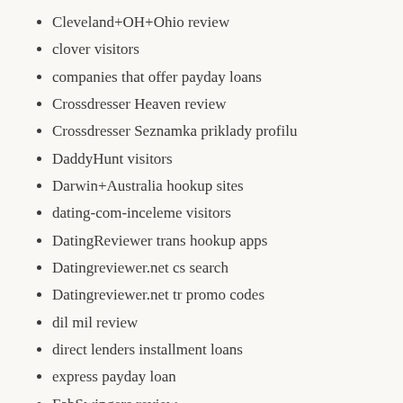Cleveland+OH+Ohio review
clover visitors
companies that offer payday loans
Crossdresser Heaven review
Crossdresser Seznamka priklady profilu
DaddyHunt visitors
Darwin+Australia hookup sites
dating-com-inceleme visitors
DatingReviewer trans hookup apps
Datingreviewer.net cs search
Datingreviewer.net tr promo codes
dil mil review
direct lenders installment loans
express payday loan
FabSwingers review
FaceFlow visitors
fast installment loans
fast payday loan
Fitness Dating Websites kostenlos
Fitness Singles visitors
fling com reviews
format for writing a research paper
foxSingles visitors